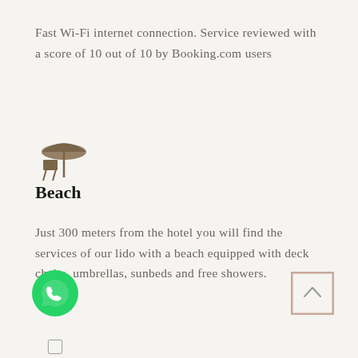Fast Wi-Fi internet connection. Service reviewed with a score of 10 out of 10 by Booking.com users
[Figure (illustration): Beach umbrella and deck chair icon in brown/tan color]
Beach
Just 300 meters from the hotel you will find the services of our lido with a beach equipped with deck chairs, umbrellas, sunbeds and free showers.
[Figure (logo): WhatsApp green circular logo icon]
[Figure (illustration): Scroll to top button - square with upward chevron arrow, pink/rose border]
[Figure (illustration): Partially visible icon at bottom of page]